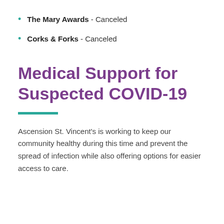The Mary Awards - Canceled
Corks & Forks - Canceled
Medical Support for Suspected COVID-19
Ascension St. Vincent’s is working to keep our community healthy during this time and prevent the spread of infection while also offering options for easier access to care.